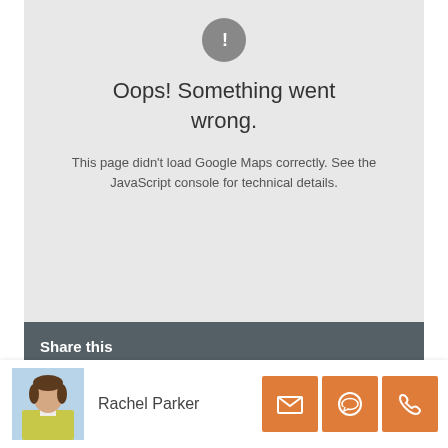[Figure (screenshot): Google Maps error box showing a grey exclamation mark circle icon, heading 'Oops! Something went wrong.' and subtext 'This page didn't load Google Maps correctly. See the JavaScript console for technical details.']
Share this
Facebook
[Figure (photo): Headshot photo of Rachel Parker, a woman with short brown hair wearing a yellow jacket]
Rachel Parker